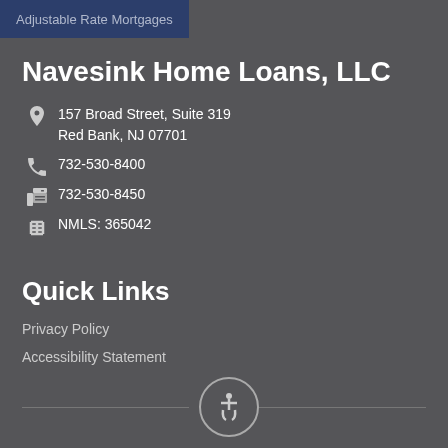Adjustable Rate Mortgages
Navesink Home Loans, LLC
157 Broad Street, Suite 319
Red Bank, NJ 07701
732-530-8400
732-530-8450
NMLS: 365042
Quick Links
Privacy Policy
Accessibility Statement